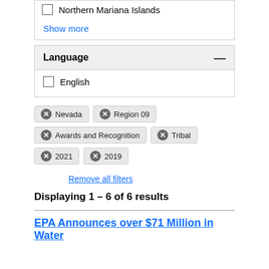Northern Mariana Islands
Show more
Language
English
Nevada  Region 09  Awards and Recognition  Tribal  2021  2019
Remove all filters
Displaying 1 – 6 of 6 results
EPA Announces over $71 Million in Water